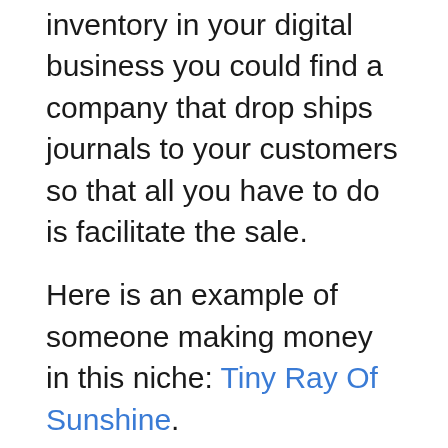inventory in your digital business you could find a company that drop ships journals to your customers so that all you have to do is facilitate the sale.
Here is an example of someone making money in this niche: Tiny Ray Of Sunshine.
This creator has made courses as well as linked all of her recommended items on her site. She’s making money with all of these offers.
Final Findings:
I hope these niches have got your wheels